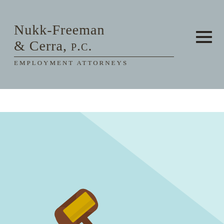[Figure (logo): Nukk-Freeman & Cerra, P.C. Employment Attorneys law firm logo with text on grey background and hamburger menu icon]
[Figure (illustration): Illustration of a wooden judge's gavel on a light blue background with a diagonal lighter beam/spotlight effect]